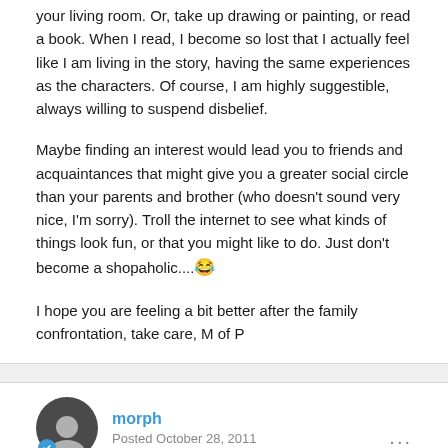your living room. Or, take up drawing or painting, or read a book. When I read, I become so lost that I actually feel like I am living in the story, having the same experiences as the characters. Of course, I am highly suggestible, always willing to suspend disbelief.
Maybe finding an interest would lead you to friends and acquaintances that might give you a greater social circle than your parents and brother (who doesn't sound very nice, I'm sorry). Troll the internet to see what kinds of things look fun, or that you might like to do. Just don't become a shopaholic....😂
I hope you are feeling a bit better after the family confrontation, take care, M of P
morph
Posted October 28, 2011
I am feeling better. Thank you mommy.(saying that made me laugh)...I